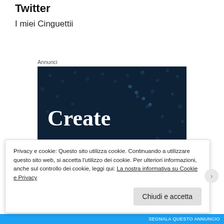Twitter
I miei Cinguettii
Annunci
[Figure (screenshot): Dark navy blue advertisement banner with scattered dot pattern and large white serif text reading 'Create surveys,']
Privacy e cookie: Questo sito utilizza cookie. Continuando a utilizzare questo sito web, si accetta l'utilizzo dei cookie. Per ulteriori informazioni, anche sul controllo dei cookie, leggi qui: La nostra informativa su Cookie e Privacy
Chiudi e accetta